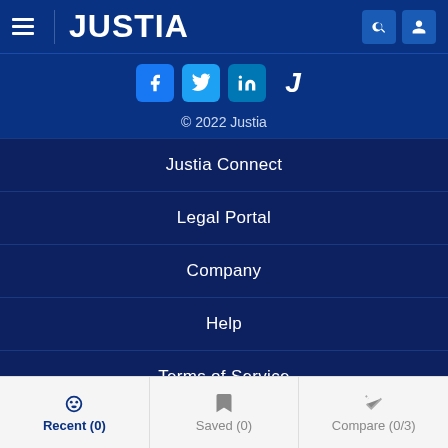JUSTIA
[Figure (logo): Social media icons: Facebook, Twitter, LinkedIn, Justia J]
© 2022 Justia
Justia Connect
Legal Portal
Company
Help
Terms of Service
Privacy Policy
Recent (0)  Saved (0)  Compare (0/3)